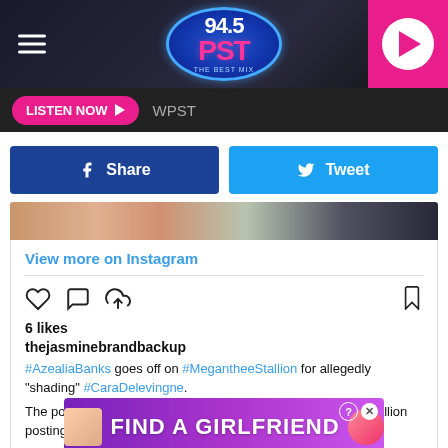94.5 PST — WPST radio station header with hamburger menu and play button
LISTEN NOW  WPST
[Figure (screenshot): Facebook Share button (dark blue) and Twitter Tweet button (light blue)]
[Figure (screenshot): Instagram embed showing cropped photo strip, View more on Instagram link, like/comment/share icons, bookmark icon, 6 likes, username thejasminebrandbackup, caption with hashtags #AzealiaBanks goes off on #MegantheeStallion for allegedly shading #CaraDelevingne., body text about Megan the Stallion posting photo with #DojaCat with Cara cropped, and Azea... cut off. Ad banner for FIND A GIRLFRIEND by Clover overlaid at bottom.]